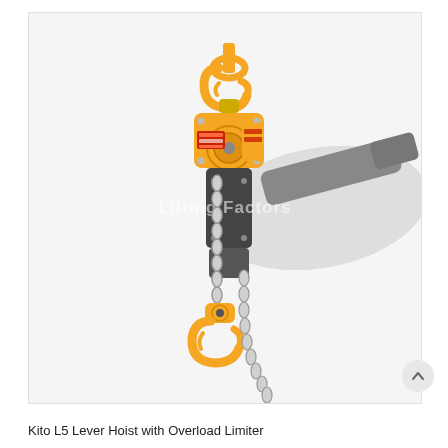[Figure (photo): Product photo of a Kito L5 Lever Hoist with Overload Limiter. Shows an orange and grey lever hoist with a top hook, chain mechanism, bottom hook, and a long lever handle extending to the right with a motion blur effect. A watermark reading 'Lifting Factors' appears across the center of the image.]
Kito L5 Lever Hoist with Overload Limiter